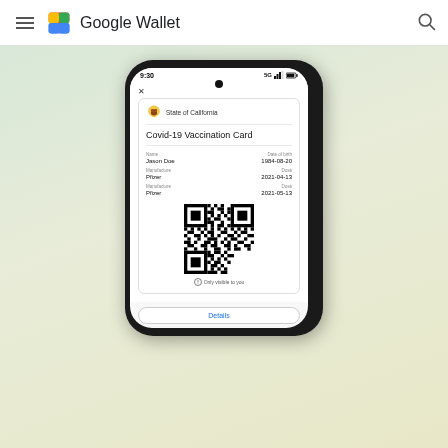Google Wallet
[Figure (screenshot): A smartphone mockup showing the Google Wallet app displaying a Covid-19 Vaccination Card for Jason Doe issued by State of California. The card shows: Name: Jason Doe, Date of birth: 1984-08-20, Manufacturer: Pfizer, Dose: 2021-04-13, Manufacturer: Pfizer, Dose: 2021-05-13. A QR code is displayed below the fields with text 'Only visible to you'. A 'Details' button appears at the bottom of the phone screen.]